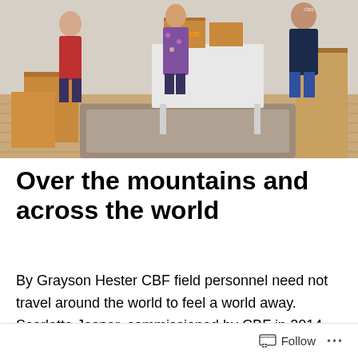[Figure (photo): Indoor photo showing several people standing in a room with cardboard boxes, including Amazon boxes, stacked on a table and floor. Hardwood flooring and a rug are visible. People are posed around the room.]
Over the mountains and across the world
By Grayson Hester CBF field personnel need not travel around the world to feel a world away. Scarlette Jasper, commissioned by CBF in 2014, serves as a rural poverty advocate for the Together for Hope Rural Poverty Initiative in south-central/southeastern Kentucky and portions of
Follow ...